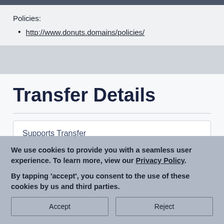Policies:
http://www.donuts.domains/policies/
Transfer Details
Supports Transfer
We use cookies to provide you with a seamless user experience. To learn more, view our Privacy Policy.
By tapping 'accept', you consent to the use of these cookies by us and third parties.
Accept
Reject